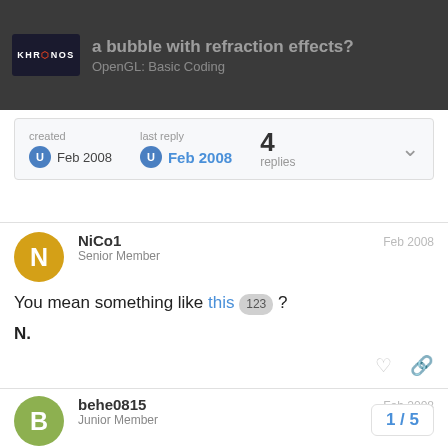a bubble with refraction effects? OpenGL: Basic Coding
created Feb 2008   last reply Feb 2008   4 replies
NiCo1
Senior Member
Feb 2008
You mean something like this 123 ?

N.
behe0815
Junior Member
Feb 2008
ATI has an older demo showing a soap bu
http://ati.amd.com/developer/samples/bubl
1 / 5